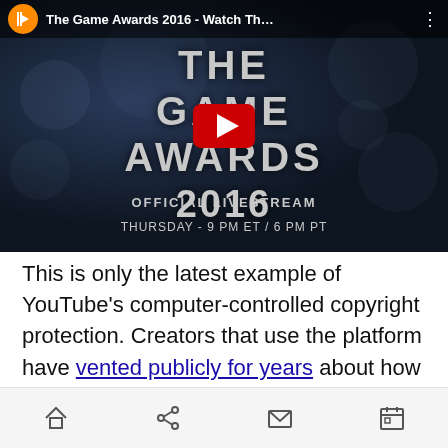[Figure (screenshot): YouTube video thumbnail for 'The Game Awards 2016 - Watch Th...' showing the official livestream promotional image with a YouTube play button overlay. Text reads 'THE GAME AWARDS 2016 OFFICIAL LIVESTREAM THURSDAY - 9 PM ET / 6 PM PT']
This is only the latest example of YouTube's computer-controlled copyright protection. Creators that use the platform have vented publicly for years about how the system will revoke reimbursement or pull videos down completely for featuring even the tiniest snippets of copyright
Home, Share, Mail, Calendar icons